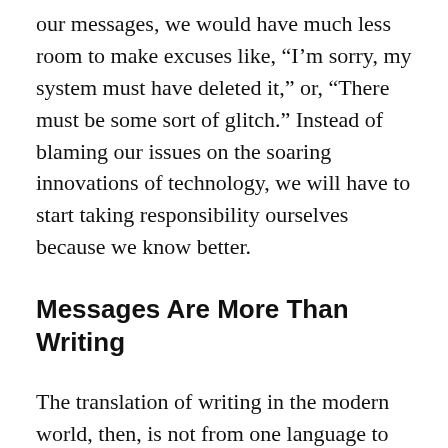our messages, we would have much less room to make excuses like, “I’m sorry, my system must have deleted it,” or, “There must be some sort of glitch.” Instead of blaming our issues on the soaring innovations of technology, we will have to start taking responsibility ourselves because we know better.
Messages Are More Than Writing
The translation of writing in the modern world, then, is not from one language to another—as we encounter this much more regularly now in our daily routines than ever before in history—